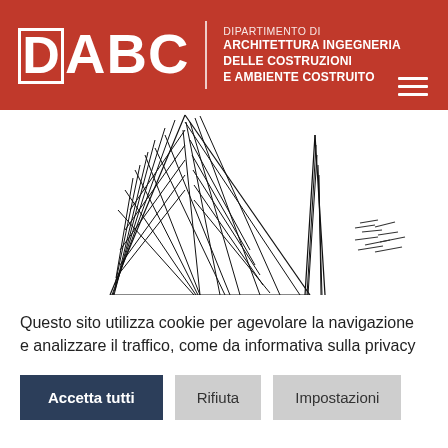DABC | DIPARTIMENTO DI ARCHITETTURA INGEGNERIA DELLE COSTRUZIONI E AMBIENTE COSTRUITO
[Figure (illustration): Architectural sketch drawing showing angular structural forms resembling a building or tower with diagonal hatching lines, rendered in black ink on white background.]
Questo sito utilizza cookie per agevolare la navigazione e analizzare il traffico, come da informativa sulla privacy
Accetta tutti | Rifiuta | Impostazioni